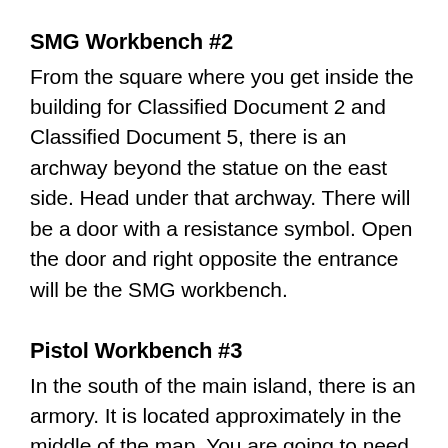SMG Workbench #2
From the square where you get inside the building for Classified Document 2 and Classified Document 5, there is an archway beyond the statue on the east side. Head under that archway. There will be a door with a resistance symbol. Open the door and right opposite the entrance will be the SMG workbench.
Pistol Workbench #3
In the south of the main island, there is an armory. It is located approximately in the middle of the map. You are going to need a satchel charge to get inside. The Pistol